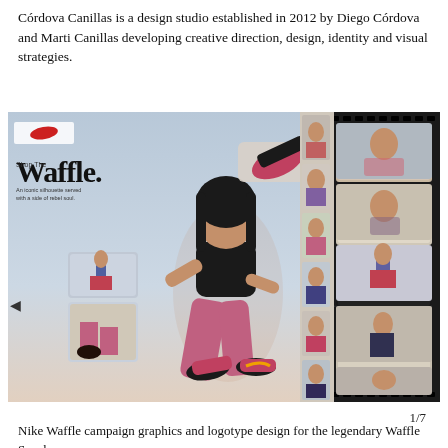Córdova Canillas is a design studio established in 2012 by Diego Córdova and Marti Canillas developing creative direction, design, identity and visual strategies.
[Figure (photo): Nike Waffle campaign image showing a woman crouching in pink leggings and Nike Waffle sneakers, with smaller lifestyle images of a child wearing the same sneakers arranged around the main image, and a film strip style photo strip on the right side.]
1/7
Nike Waffle campaign graphics and logotype design for the legendary Waffle Sneaker